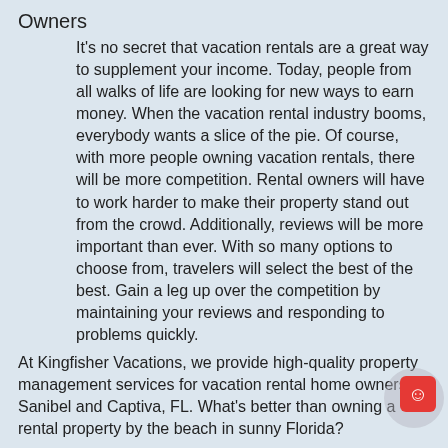Owners
It's no secret that vacation rentals are a great way to supplement your income. Today, people from all walks of life are looking for new ways to earn money. When the vacation rental industry booms, everybody wants a slice of the pie. Of course, with more people owning vacation rentals, there will be more competition. Rental owners will have to work harder to make their property stand out from the crowd. Additionally, reviews will be more important than ever. With so many options to choose from, travelers will select the best of the best. Gain a leg up over the competition by maintaining your reviews and responding to problems quickly.
At Kingfisher Vacations, we provide high-quality property management services for vacation rental home owners in Sanibel and Captiva, FL. What's better than owning a rental property by the beach in sunny Florida?
Join the Vacation Rental Industry and Partner with